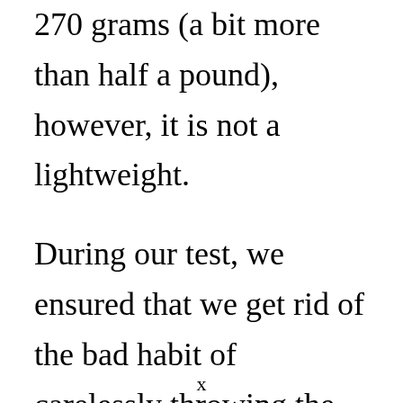270 grams (a bit more than half a pound), however, it is not a lightweight.
During our test, we ensured that we get rid of the bad habit of carelessly throwing the headphones somewhere on the desk after work. Just mount it somewhere on the hi-fi cabinet, hang up the headphones,
x